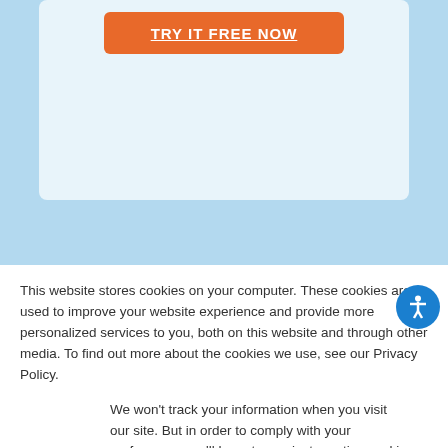[Figure (screenshot): Orange CTA button labeled TRY IT FREE NOW on a light blue card background]
[Figure (screenshot): Search input box with Search button on light blue card]
This website stores cookies on your computer. These cookies are used to improve your website experience and provide more personalized services to you, both on this website and through other media. To find out more about the cookies we use, see our Privacy Policy.
We won't track your information when you visit our site. But in order to comply with your preferences, we'll have to use just one tiny cookie so that you're not asked to make this choice again.
Accept
Decline